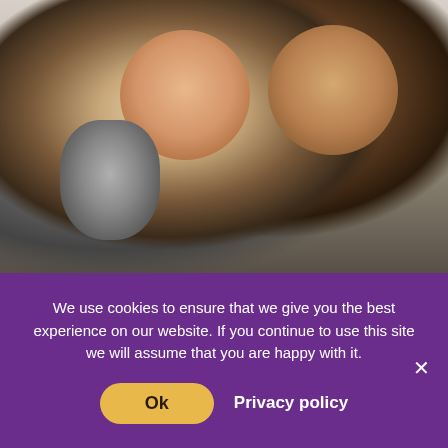[Figure (photo): Two smiling young women holding a gray and white cat, taking a selfie indoors]
We use cookies to ensure that we give you the best experience on our website. If you continue to use this site we will assume that you are happy with it.
Ok
Privacy policy